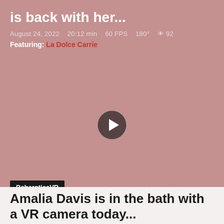is back with her...
August 24, 2022   20:12 min   60 FPS   180°   👁 92
Featuring: La Dolce Carrie
[Figure (other): Video thumbnail placeholder with play button circle in center, pink/mauve background]
BaberoticaVR
Amalia Davis is in the bath with a VR camera today...